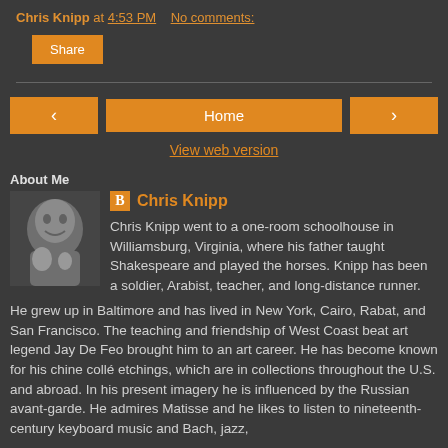Chris Knipp at 4:53 PM   No comments:
Share
‹  Home  ›
View web version
About Me
Chris Knipp
Chris Knipp went to a one-room schoolhouse in Williamsburg, Virginia, where his father taught Shakespeare and played the horses. Knipp has been a soldier, Arabist, teacher, and long-distance runner. He grew up in Baltimore and has lived in New York, Cairo, Rabat, and San Francisco. The teaching and friendship of West Coast beat art legend Jay De Feo brought him to an art career. He has become known for his chine collé etchings, which are in collections throughout the U.S. and abroad. In his present imagery he is influenced by the Russian avant-garde. He admires Matisse and he likes to listen to nineteenth-century keyboard music and Bach, jazz,